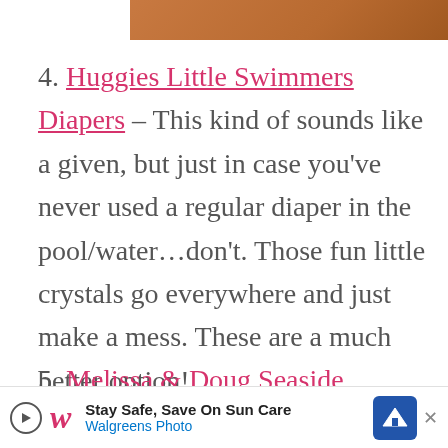[Figure (photo): Partial brown/orange image visible at top of page]
4. Huggies Little Swimmers Diapers – This kind of sounds like a given, but just in case you've never used a regular diaper in the pool/water…don't. Those fun little crystals go everywhere and just make a mess. These are a much better option!
5. Melissa & Doug Seaside Sidekicks Sand Baking Set – I love that this little sand kit not only includes fun beach toys, but actually [continues below]
[Figure (screenshot): Walgreens Photo advertisement banner: Stay Safe, Save On Sun Care]